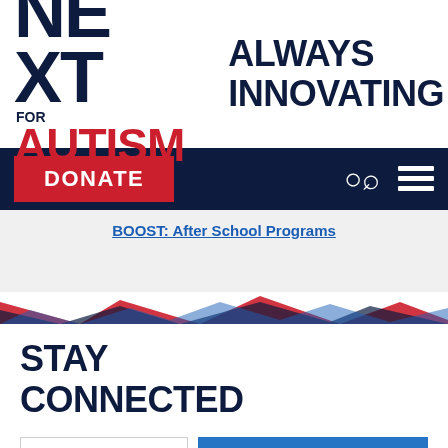[Figure (logo): NEXT FOR AUTISM logo with 'ALWAYS INNOVATING' tagline. 'NEXT' in large dark navy bold text, 'FOR' small above 'AUTISM' in red bold, vertical divider line, 'ALWAYS INNOVATING' in dark navy bold text to the right.]
DONATE
BOOST: After School Programs
STAY CONNECTED
Email Adc
SUBSCRIBE